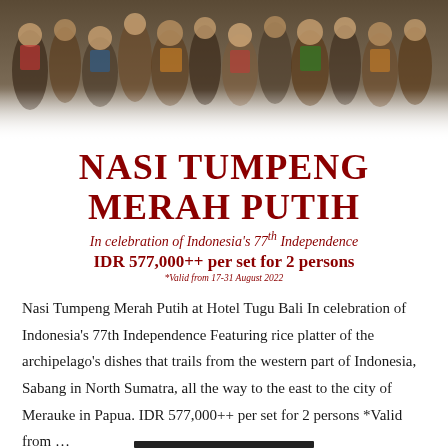[Figure (photo): A banner photo showing a crowd of Indonesian cultural performers and festival participants in traditional costumes, merging into white at the bottom.]
NASI TUMPENG MERAH PUTIH
In celebration of Indonesia's 77th Independence
IDR 577,000++ per set for 2 persons
*Valid from 17-31 August 2022
Nasi Tumpeng Merah Putih at Hotel Tugu Bali In celebration of Indonesia's 77th Independence Featuring rice platter of the archipelago's dishes that trails from the western part of Indonesia, Sabang in North Sumatra, all the way to the east to the city of Merauke in Papua. IDR 577,000++ per set for 2 persons *Valid from …